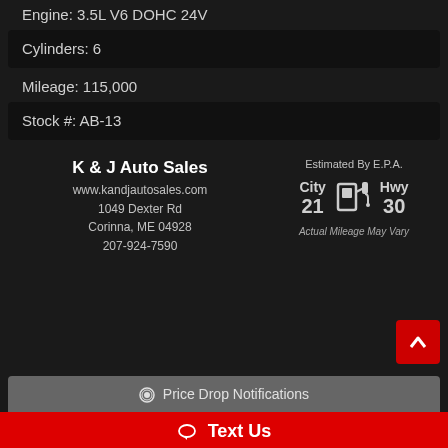Engine: 3.5L V6 DOHC 24V
Cylinders: 6
Mileage: 115,000
Stock #: AB-13
K & J Auto Sales
www.kandjautosales.com
1049 Dexter Rd
Corinna, ME 04928
207-924-7590
Estimated By E.P.A.
City 21  Hwy 30
Actual Mileage May Vary
Price Drop Notifications
Text Us